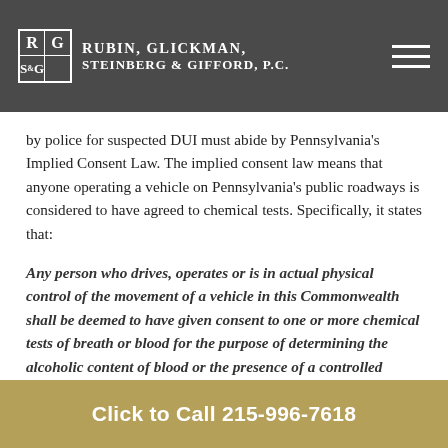Rubin, Glickman, Steinberg & Gifford, P.C.
by police for suspected DUI must abide by Pennsylvania’s Implied Consent Law. The implied consent law means that anyone operating a vehicle on Pennsylvania’s public roadways is considered to have agreed to chemical tests. Specifically, it states that:
Any person who drives, operates or is in actual physical control of the movement of a vehicle in this Commonwealth shall be deemed to have given consent to one or more chemical tests of breath or blood for the purpose of determining the alcoholic content of blood or the presence of a controlled substance…
In doing so, it also means that those who operate a
Click to Call  215-996-7618